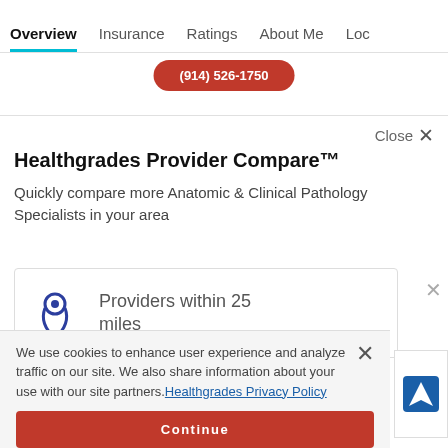Overview  Insurance  Ratings  About Me  Loc
[Figure (other): Red rounded button showing phone number (914) 526-1750]
Close ×
Healthgrades Provider Compare™
Quickly compare more Anatomic & Clinical Pathology Specialists in your area
Providers within 25 miles
We use cookies to enhance user experience and analyze traffic on our site. We also share information about your use with our site partners. Healthgrades Privacy Policy
Continue